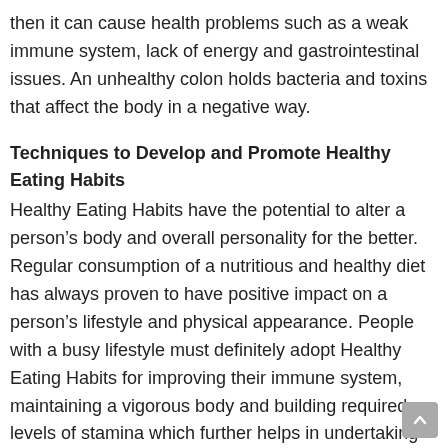then it can cause health problems such as a weak immune system, lack of energy and gastrointestinal issues. An unhealthy colon holds bacteria and toxins that affect the body in a negative way.
Techniques to Develop and Promote Healthy Eating Habits
Healthy Eating Habits have the potential to alter a person's body and overall personality for the better. Regular consumption of a nutritious and healthy diet has always proven to have positive impact on a person's lifestyle and physical appearance. People with a busy lifestyle must definitely adopt Healthy Eating Habits for improving their immune system, maintaining a vigorous body and building required levels of stamina which further helps in undertaking strenuous activities in their personal/professional life.